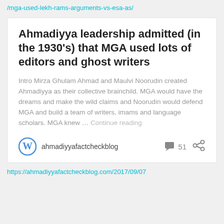/mga-used-lekh-rams-arguments-vs-esa-as/
Ahmadiyya leadership admitted (in the 1930’s) that MGA used lots of editors and ghost writers
Intro Mirza Ghulam Ahmad and Maulvi Noorudin created Ahmadiyya as their collective brainchild. MGA would have the dreams and make the wild claims and Noorudin would defend MGA and build a team of writers, imams and language scholars. MGA knew … Continue reading
ahmadiyyafactcheckblog  51
https://ahmadiyyafactcheckblog.com/2017/09/07